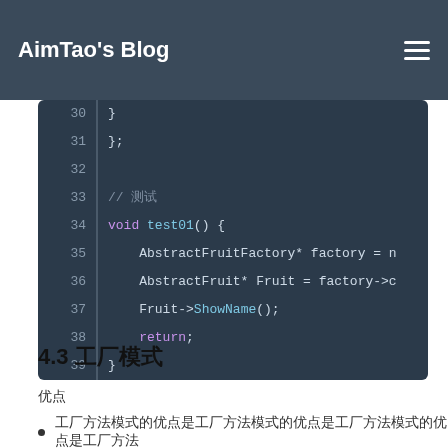AimTao's Blog
[Figure (screenshot): C++ code snippet showing lines 30-39 with AbstractFruitFactory and test01 function in a dark-themed code editor]
4.3 工厂模式
优点
工厂方法模式的优点是工厂方法模式的优点是工厂方法模式的优点是工厂方法模式的优点